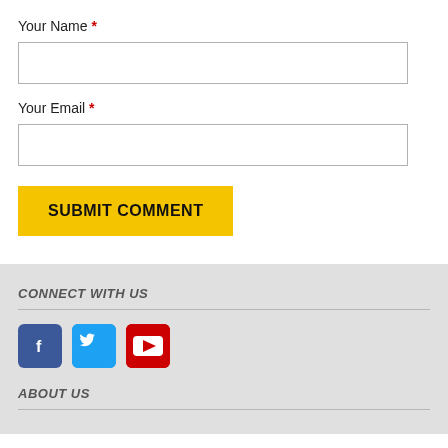Your Name *
[Figure (other): Text input box for name]
Your Email *
[Figure (other): Text input box for email]
SUBMIT COMMENT
CONNECT WITH US
[Figure (other): Social media icons: Facebook, Twitter, YouTube]
ABOUT US